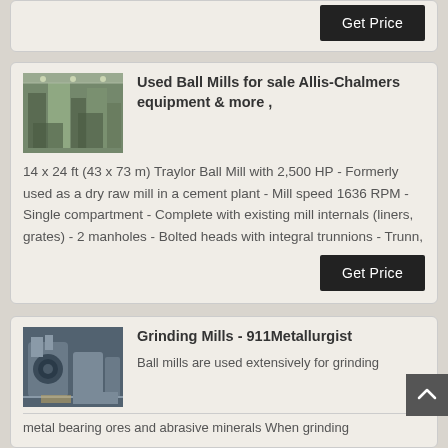[Figure (photo): Partial top card with Get Price button visible at top of page]
Used Ball Mills for sale Allis-Chalmers equipment & more ,
[Figure (photo): Industrial ball mill equipment inside a factory building]
14 x 24 ft (43 x 73 m) Traylor Ball Mill with 2,500 HP - Formerly used as a dry raw mill in a cement plant - Mill speed 1636 RPM - Single compartment - Complete with existing mill internals (liners, grates) - 2 manholes - Bolted heads with integral trunnions - Trunn,
Grinding Mills - 911Metallurgist
[Figure (photo): Industrial grinding mill equipment photo]
Ball mills are used extensively for grinding metal bearing ores and abrasive minerals When grinding...